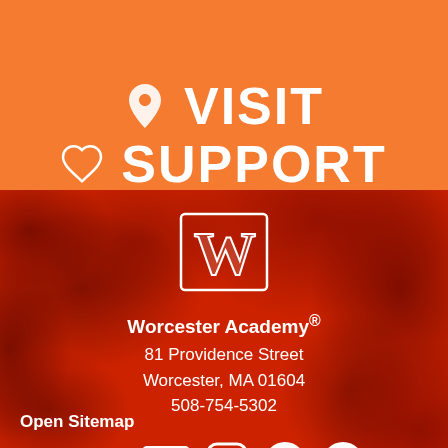VISIT
SUPPORT
[Figure (logo): Worcester Academy W logo in white outline on dark red background]
Worcester Academy®
81 Providence Street
Worcester, MA 01604
508-754-5302
[Figure (infographic): Social media icons row: Flickr, YouTube, Instagram, Twitter, Facebook]
Open Sitemap